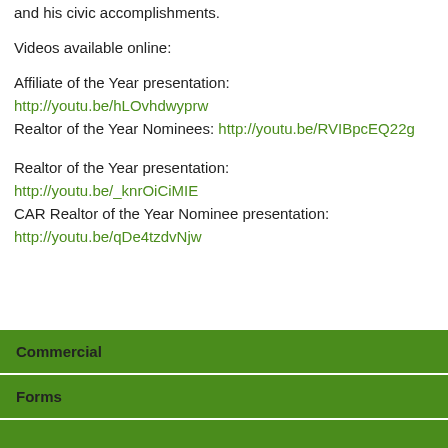and his civic accomplishments.
Videos available online:
Affiliate of the Year presentation:
http://youtu.be/hLOvhdwyprw
Realtor of the Year Nominees: http://youtu.be/RVIBpcEQ22g
Realtor of the Year presentation:
http://youtu.be/_knrOiCiMIE
CAR Realtor of the Year Nominee presentation:
http://youtu.be/qDe4tzdvNjw
Commercial
Forms